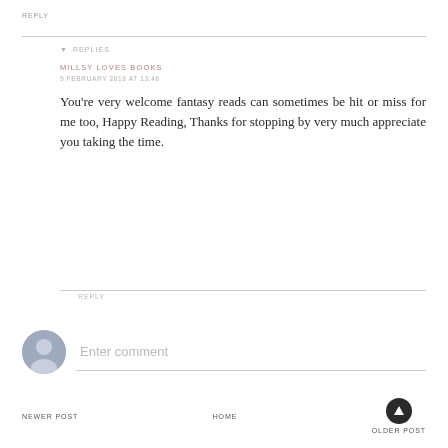REPLY
▼ REPLIES
MILLSY LOVES BOOKS
9 FEBRUARY 2018 AT 13:46
You're very welcome fantasy reads can sometimes be hit or miss for me too, Happy Reading, Thanks for stopping by very much appreciate you taking the time.
REPLY
[Figure (illustration): User avatar placeholder circle with person silhouette]
Enter comment
NEWER POST   HOME   OLDER POST